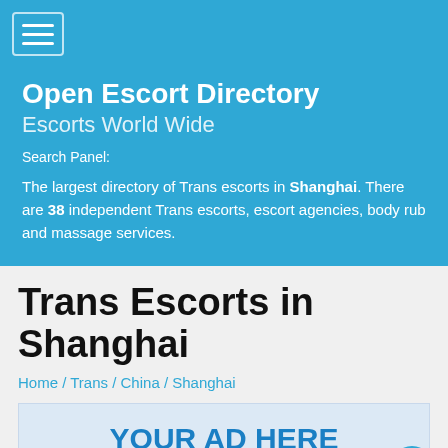[Figure (screenshot): Navigation bar with hamburger menu icon on blue background]
Open Escort Directory
Escorts World Wide
Search Panel:
The largest directory of Trans escorts in Shanghai. There are 38 independent Trans escorts, escort agencies, body rub and massage services.
Trans Escorts in Shanghai
Home / Trans / China / Shanghai
[Figure (infographic): Ad banner with text YOUR AD HERE on light blue background]
Your banner description